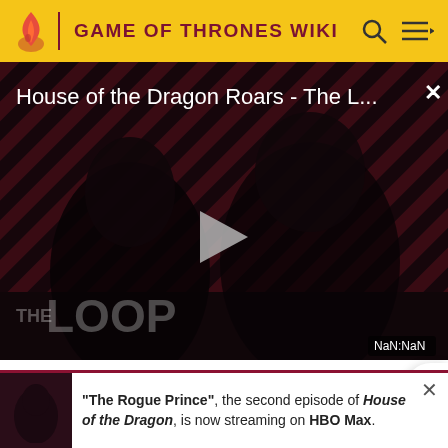GAME OF THRONES WIKI
[Figure (screenshot): Video player showing 'House of the Dragon Roars - The L...' with a dark figure silhouette, play button in center, THE LOOP watermark, and NaN:NaN timestamp badge]
Stepstones island chain in the Narrow Sea late in the reign of Aegon the Conqueror, requiring military
"The Rogue Prince", the second episode of House of the Dragon, is now streaming on HBO Max.